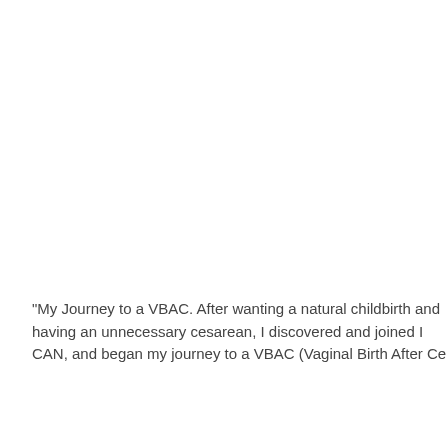"My Journey to a VBAC. After wanting a natural child-birth and having an unnecessary cesarean, I discovered and joined ICAN, and began my journey to a VBAC (Vaginal Birth After Ce...